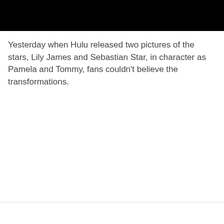[Figure (photo): Black rectangular image block at the top of the page]
Yesterday when Hulu released two pictures of the stars, Lily James and Sebastian Star, in character as Pamela and Tommy, fans couldn't believe the transformations.